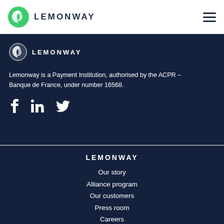LEMONWAY
[Figure (logo): Lemonway logo with green circular icon and dark blue LEMONWAY text]
Lemonway is a Payment Institution, authorised by the ACPR – Banque de France, under number 16568.
[Figure (infographic): Social media icons: Facebook, LinkedIn, Twitter]
LEMONWAY
Our story
Alliance program
Our customers
Press room
Careers